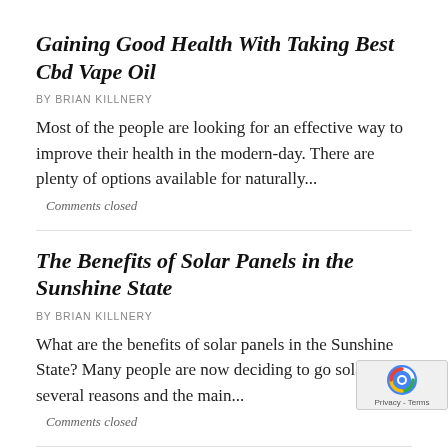Gaining Good Health With Taking Best Cbd Vape Oil
BY BRIAN KILLNERY
Most of the people are looking for an effective way to improve their health in the modern-day. There are plenty of options available for naturally...
Comments closed
The Benefits of Solar Panels in the Sunshine State
BY BRIAN KILLNERY
What are the benefits of solar panels in the Sunshine State? Many people are now deciding to go solar for several reasons and the main...
Comments closed
Employment and Jobs in Columbus, Oh (Gu
BY WEBEDITOR